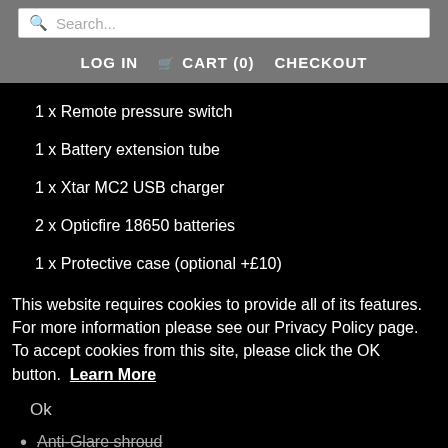Search...
LOG IN   CART (0)   CHECKOUT
1 x Remote pressure switch
1 x Battery extension tube
1 x Xtar MC2 USB charger
2 x Opticfire 18650 batteries
1 x Protective case (optional +£10)
This website requires cookies to provide all of its features. For more information please see our Privacy Policy page. To accept cookies from this site, please click the OK button. Learn More
Ok
Anti-Glare shroud